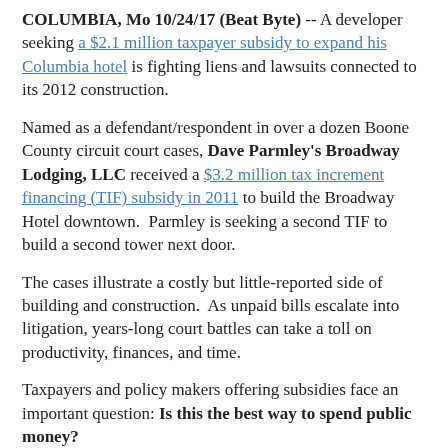COLUMBIA, Mo 10/24/17 (Beat Byte) -- A developer seeking a $2.1 million taxpayer subsidy to expand his Columbia hotel is fighting liens and lawsuits connected to its 2012 construction.
Named as a defendant/respondent in over a dozen Boone County circuit court cases, Dave Parmley's Broadway Lodging, LLC received a $3.2 million tax increment financing (TIF) subsidy in 2011 to build the Broadway Hotel downtown.  Parmley is seeking a second TIF to build a second tower next door.
The cases illustrate a costly but little-reported side of building and construction.  As unpaid bills escalate into litigation, years-long court battles can take a toll on productivity, finances, and time.
Taxpayers and policy makers offering subsidies face an important question: Is this the best way to spend public money?
Contractors and suppliers filed "mechanics liens" against the Broadway Hotel in 2014 and 2015, Boone County Circuit Court records show.  A mechanics lien is a claim of payment